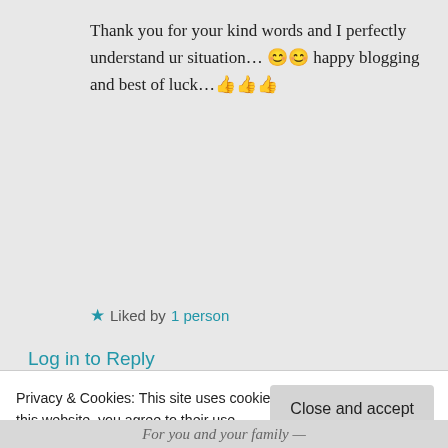Thank you for your kind words and I perfectly understand ur situation… 😊😊 happy blogging and best of luck…👍👍👍
★ Liked by 1 person
Log in to Reply
Didi's Art Design on 04/10/2020 at 19:11
Privacy & Cookies: This site uses cookies. By continuing to use this website, you agree to their use. To find out more, including how to control cookies, see here: Cookie Policy
Close and accept
For you and your family —